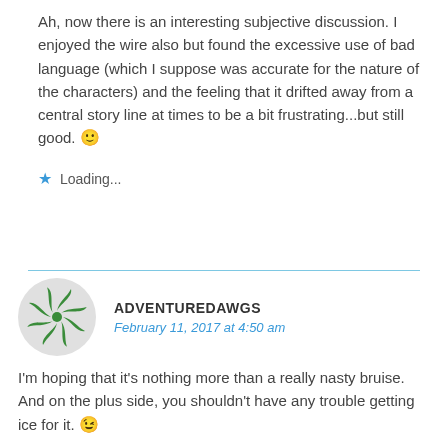Ah, now there is an interesting subjective discussion. I enjoyed the wire also but found the excessive use of bad language (which I suppose was accurate for the nature of the characters) and the feeling that it drifted away from a central story line at times to be a bit frustrating...but still good. 🙂
Loading...
[Figure (illustration): Green snowflake/pinwheel avatar icon for user ADVENTUREDAWGS]
ADVENTUREDAWGS
February 11, 2017 at 4:50 am
I'm hoping that it's nothing more than a really nasty bruise. And on the plus side, you shouldn't have any trouble getting ice for it. 😉